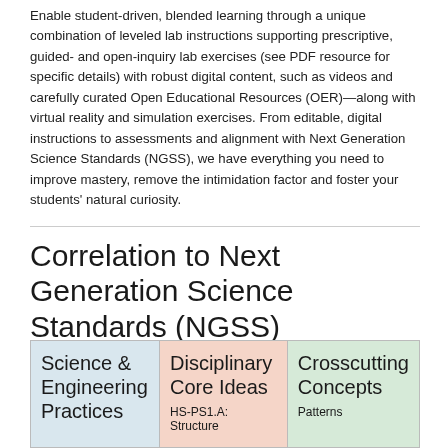Enable student-driven, blended learning through a unique combination of leveled lab instructions supporting prescriptive, guided- and open-inquiry lab exercises (see PDF resource for specific details) with robust digital content, such as videos and carefully curated Open Educational Resources (OER)—along with virtual reality and simulation exercises. From editable, digital instructions to assessments and alignment with Next Generation Science Standards (NGSS), we have everything you need to improve mastery, remove the intimidation factor and foster your students' natural curiosity.
Correlation to Next Generation Science Standards (NGSS)
| Science & Engineering Practices | Disciplinary Core Ideas | Crosscutting Concepts |
| --- | --- | --- |
|  | HS-PS1.A: Structure | Patterns |